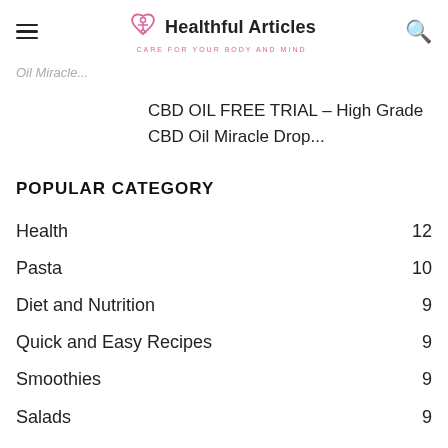Healthful Articles — CARE FOR YOUR BODY AND MIND
Oil Miracle...
CBD OIL FREE TRIAL – High Grade CBD Oil Miracle Drop...
POPULAR CATEGORY
Health  12
Pasta  10
Diet and Nutrition  9
Quick and Easy Recipes  9
Smoothies  9
Salads  9